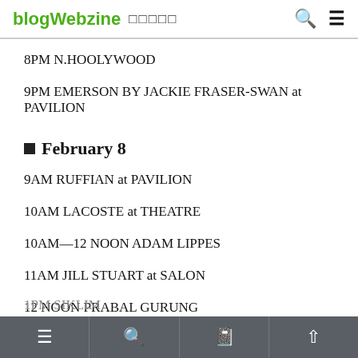blogWebzine □□□□□
8PM N.HOOLYWOOD
9PM EMERSON BY JACKIE FRASER-SWAN at PAVILION
■ February 8
9AM RUFFIAN at PAVILION
10AM LACOSTE at THEATRE
10AM—12 NOON ADAM LIPPES
11AM JILL STUART at SALON
12 NOON PRABAL GURUNG
1PM SON JUNG WAN at PAVILION
1PM SIKLIM  [menu] [search] [book] [up]